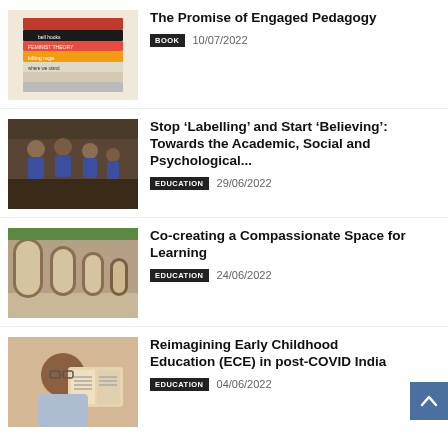[Figure (photo): Stack of books including bell hooks titles]
The Promise of Engaged Pedagogy
BOOK   10/07/2022
[Figure (photo): Group of school children in uniforms]
Stop ‘Labelling’ and Start ‘Believing’: Towards the Academic, Social and Psychological...
EDUCATION   29/06/2022
[Figure (photo): Arched corridor of a school building]
Co-creating a Compassionate Space for Learning
EDUCATION   24/06/2022
[Figure (photo): Child reading a book]
Reimagining Early Childhood Education (ECE) in post-COVID India
EDUCATION   04/06/2022